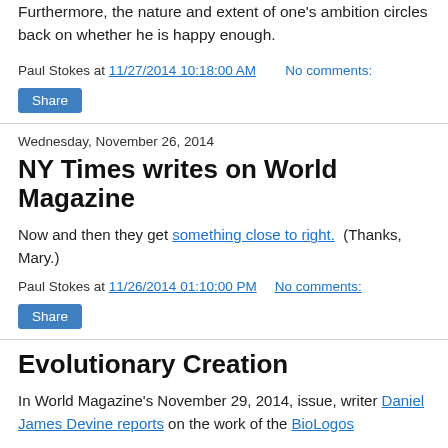Furthermore, the nature and extent of one's ambition circles back on whether he is happy enough.
Paul Stokes at 11/27/2014 10:18:00 AM   No comments:
Share
Wednesday, November 26, 2014
NY Times writes on World Magazine
Now and then they get something close to right.  (Thanks, Mary.)
Paul Stokes at 11/26/2014 01:10:00 PM   No comments:
Share
Evolutionary Creation
In World Magazine's November 29, 2014, issue, writer Daniel James Devine reports on the work of the BioLogos